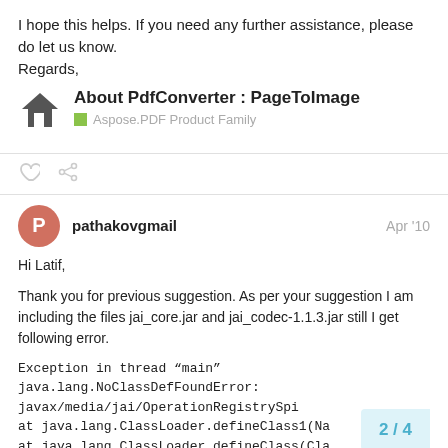I hope this helps. If you need any further assistance, please do let us know.
Regards,
About PdfConverter : PageToImage
Aspose.PDF Product Family
pathakovgmail  Apr '10
Hi Latif,
Thank you for previous suggestion. As per your suggestion I am including the files jai_core.jar and jai_codec-1.1.3.jar still I get following error.
Exception in thread “main” java.lang.NoClassDefFoundError: javax/media/jai/OperationRegistrySpi
at java.lang.ClassLoader.defineClass1(Na
at java.lang.ClassLoader.defineClass(Cla
2 / 4